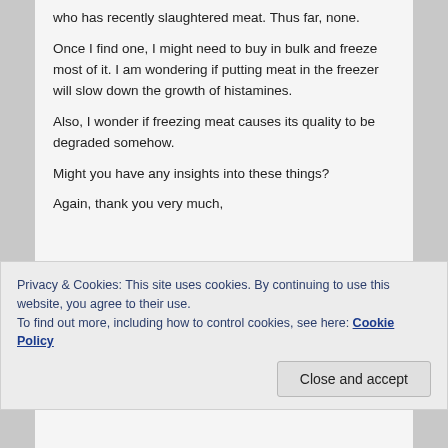who has recently slaughtered meat. Thus far, none.
Once I find one, I might need to buy in bulk and freeze most of it. I am wondering if putting meat in the freezer will slow down the growth of histamines.
Also, I wonder if freezing meat causes its quality to be degraded somehow.
Might you have any insights into these things?
Again, thank you very much,
Privacy & Cookies: This site uses cookies. By continuing to use this website, you agree to their use.
To find out more, including how to control cookies, see here: Cookie Policy